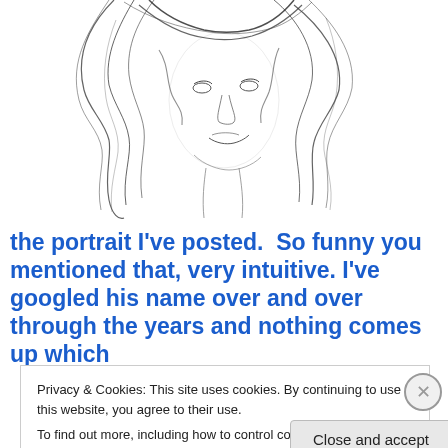[Figure (illustration): Black and white pen/ink sketch of a woman's face with flowing wavy hair, looking slightly downward, detailed cross-hatching style illustration]
the portrait I've posted.  So funny you mentioned that, very intuitive. I've googled his name over and over through the years and nothing comes up which
Privacy & Cookies: This site uses cookies. By continuing to use this website, you agree to their use.
To find out more, including how to control cookies, see here: Cookie Policy
Close and accept